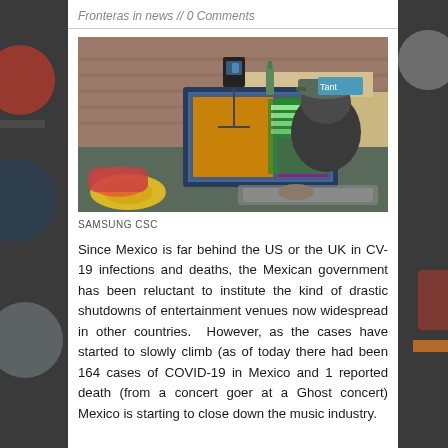Fronteras in news // 0 Comments
[Figure (photo): A person wearing a dark cap viewed from behind, working on a laptop at a music/streaming setup with cameras, microphones, and music equipment visible in the background.]
SAMSUNG CSC
Since Mexico is far behind the US or the UK in CV-19 infections and deaths, the Mexican government has been reluctant to institute the kind of drastic shutdowns of entertainment venues now widespread in other countries.  However, as the cases have started to slowly climb (as of today there had been 164 cases of COVID-19 in Mexico and 1 reported death (from a concert goer at a Ghost concert) Mexico is starting to close down the music industry.